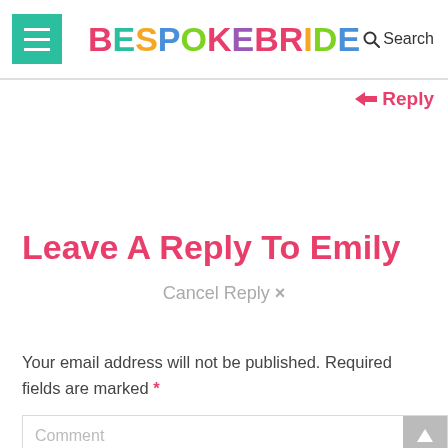BESPOKE BRIDE — Search
← Reply
Leave A Reply To Emily
Cancel Reply ×
Your email address will not be published. Required fields are marked *
Comment